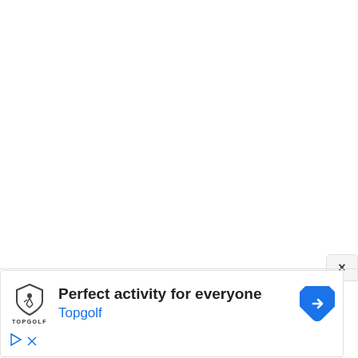[Figure (screenshot): Advertisement banner for Topgolf. White background with close button (×) in top-right corner. Contains Topgolf shield logo, headline 'Perfect activity for everyone', brand name 'Topgolf' in blue, a blue diamond-shaped navigation arrow icon on the right, and small play/close ad controls at the bottom-left.]